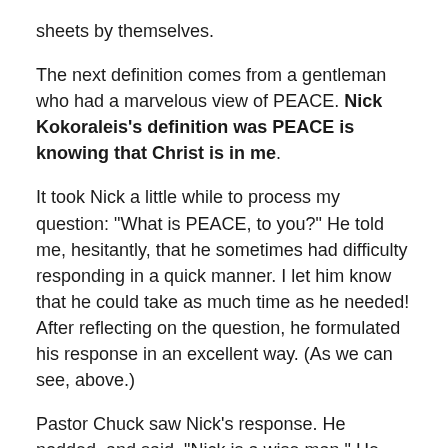sheets by themselves.
The next definition comes from a gentleman who had a marvelous view of PEACE. Nick Kokoraleis’s definition was PEACE is knowing that Christ is in me.
It took Nick a little while to process my question: “What is PEACE, to you?” He told me, hesitantly, that he sometimes had difficulty responding in a quick manner. I let him know that he could take as much time as he needed! After reflecting on the question, he formulated his response in an excellent way. (As we can see, above.)
Pastor Chuck saw Nick’s response. He nodded, and said, “Nick is a wise man.” He sometimes has difficulties and challenges in his dealings with some people (who are usually impatient, and get irritated very quickly). Yet, he is